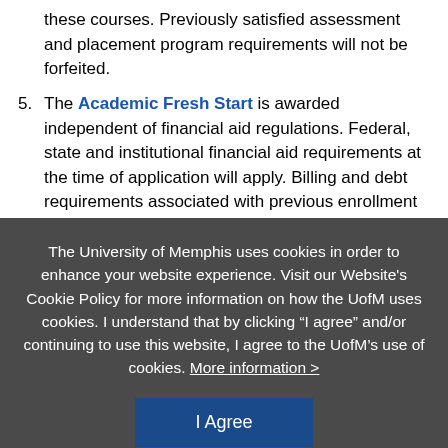these courses. Previously satisfied assessment and placement program requirements will not be forfeited.
5. The Academic Fresh Start is awarded independent of financial aid regulations. Federal, state and institutional financial aid requirements at the time of application will apply. Billing and debt requirements associated with previous enrollment are not intended
[Figure (screenshot): Cookie consent overlay from University of Memphis website. Dark gray background with white text: 'The University of Memphis uses cookies in order to enhance your website experience. Visit our Website's Cookie Policy for more information on how the UofM uses cookies. I understand that by clicking “I agree” and/or continuing to use this website, I agree to the UofM’s use of cookies. More information >' and a dark blue 'I Agree' button.]
scholarship eligibility; and/or educational benefits.
6. Academic Fresh Start requires approval by the appropriate college dean or designee.